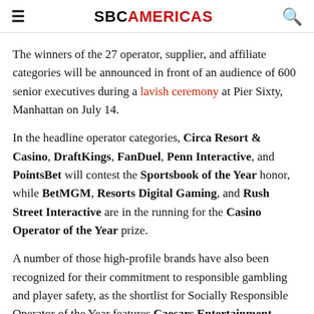SBCAMERICAS
The winners of the 27 operator, supplier, and affiliate categories will be announced in front of an audience of 600 senior executives during a lavish ceremony at Pier Sixty, Manhattan on July 14.
In the headline operator categories, Circa Resort & Casino, DraftKings, FanDuel, Penn Interactive, and PointsBet will contest the Sportsbook of the Year honor, while BetMGM, Resorts Digital Gaming, and Rush Street Interactive are in the running for the Casino Operator of the Year prize.
A number of those high-profile brands have also been recognized for their commitment to responsible gambling and player safety, as the shortlist for Socially Responsible Operator of the Year features Caesars Entertainment, DraftKings, Entain, PointsBet, and Rush Street Interactive